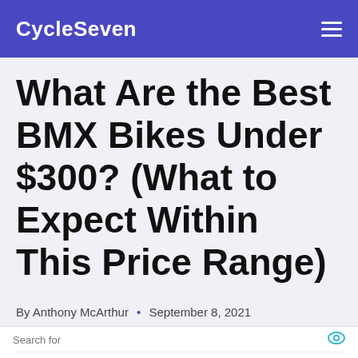CycleSeven
What Are the Best BMX Bikes Under $300? (What to Expect Within This Price Range)
By Anthony McArthur • September 8, 2021
[Figure (screenshot): Advertisement panel with search links: 1. BMX BIKES FOR SALE, 2. TOP 10 BMX BIKES FOR EVERY, with Ad | Business Focus footer]